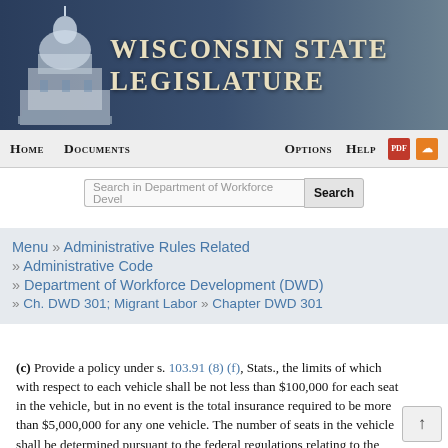[Figure (screenshot): Wisconsin State Legislature website header with capitol building silhouette and blue gradient background]
Wisconsin State Legislature
Home   Documents   Options   Help
Search in Department of Workforce Development   Search
Menu » Administrative Rules Related » Administrative Code » Department of Workforce Development (DWD) » Ch. DWD 301; Migrant Labor » Chapter DWD 301
(c) Provide a policy under s. 103.91 (8) (f), Stats., the limits of which with respect to each vehicle shall be not less than $100,000 for each seat in the vehicle, but in no event is the total insurance required to be more than $5,000,000 for any one vehicle. The number of seats in the vehicle shall be determined pursuant to the federal regulations relating to the transportation of migrant and seasonal agricultural workers under 29 CFR Part 500. This requirement shall apply if the contractor furnishes transportation only as t